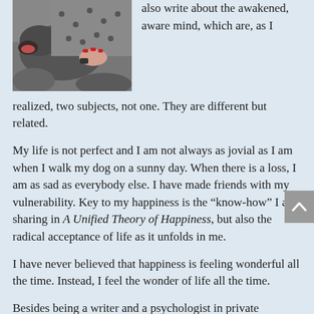[Figure (photo): A person with red nail polish petting or holding a dog, photographed outdoors on rocky ground.]
also write about the awakened, aware mind, which are, as I realized, two subjects, not one. They are different but related.
My life is not perfect and I am not always as jovial as I am when I walk my dog on a sunny day. When there is a loss, I am as sad as everybody else. I have made friends with my vulnerability. Key to my happiness is the “know-how” I am sharing in A Unified Theory of Happiness, but also the radical acceptance of life as it unfolds in me.
I have never believed that happiness is feeling wonderful all the time. Instead, I feel the wonder of life all the time.
Besides being a writer and a psychologist in private practice, I live in the quiet mountains of Topanga with my husband and three children, our dog Bella, chickens,